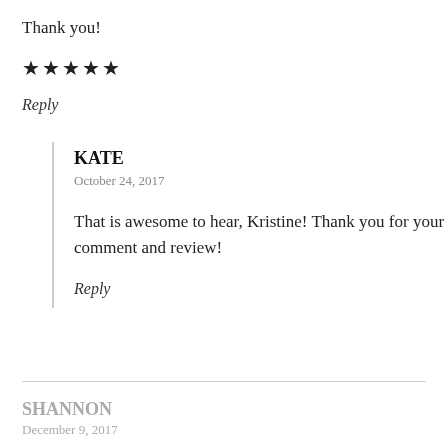Thank you!
★★★★★
Reply
KATE
October 24, 2017
That is awesome to hear, Kristine! Thank you for your comment and review!
Reply
SHANNON
December 9, 2017